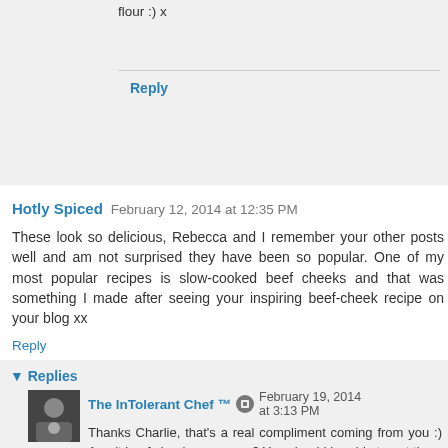flour :) x
Reply
Hotly Spiced  February 12, 2014 at 12:35 PM
These look so delicious, Rebecca and I remember your other posts well and am not surprised they have been so popular. One of my most popular recipes is slow-cooked beef cheeks and that was something I made after seeing your inspiring beef-cheek recipe on your blog xx
Reply
Replies
The InTolerant Chef ™  February 19, 2014 at 3:13 PM
Thanks Charlie, that's a real compliment coming from you :) Aren't beef cheeks scrummy? You should be able to eat them with a spoon xox